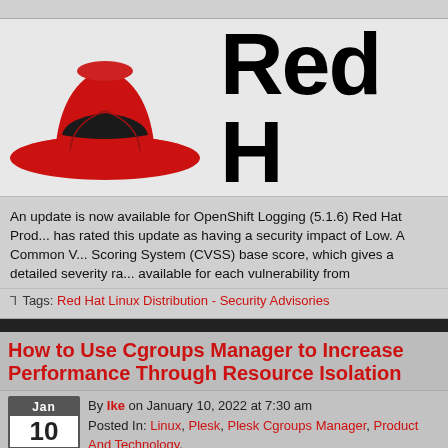[Figure (logo): Red Hat logo: red fedora hat with black band, followed by bold text 'Red H' (truncated)]
An update is now available for OpenShift Logging (5.1.6) Red Hat Product has rated this update as having a security impact of Low. A Common Vulnerability Scoring System (CVSS) base score, which gives a detailed severity rating, is available for each vulnerability from
Tags: Red Hat Linux Distribution - Security Advisories
How to Use Cgroups Manager to Increase Performance Through Resource Isolation
By Ike on January 10, 2022 at 7:30 am
Posted In: Linux, Plesk, Plesk Cgroups Manager, Product And Technology, Resource Isolation, Website Performance
Cgroups Manager is here to offer a helping hand with your resource management. Control the resource consumption on your server and set the specific...